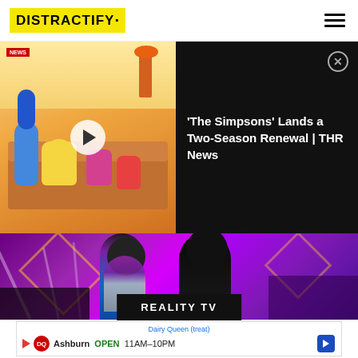[Figure (logo): Distractify logo with yellow background and black bold text]
[Figure (screenshot): Video thumbnail of The Simpsons family on couch with play button overlay, alongside video title panel]
'The Simpsons' Lands a Two-Season Renewal | THR News
[Figure (photo): Two people on stage with purple magenta lighting background, woman in metallic purple jacket and man in black coat]
REALITY TV
[Figure (screenshot): Dairy Queen advertisement showing Ashburn location OPEN 11AM-10PM with DQ logo and navigation arrow]